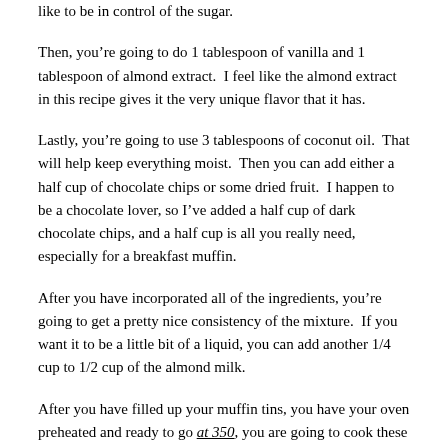like to be in control of the sugar.
Then, you’re going to do 1 tablespoon of vanilla and 1 tablespoon of almond extract.  I feel like the almond extract in this recipe gives it the very unique flavor that it has.
Lastly, you’re going to use 3 tablespoons of coconut oil.  That will help keep everything moist.  Then you can add either a half cup of chocolate chips or some dried fruit.  I happen to be a chocolate lover, so I’ve added a half cup of dark chocolate chips, and a half cup is all you really need, especially for a breakfast muffin.
After you have incorporated all of the ingredients, you’re going to get a pretty nice consistency of the mixture.  If you want it to be a little bit of a liquid, you can add another 1/4 cup to 1/2 cup of the almond milk.
After you have filled up your muffin tins, you have your oven preheated and ready to go at 350, you are going to cook these muffins for about 25 minutes.
Another little secret I want to share with you is sucanat.  Sucanat is an alternative to white sugar and it has a coloring almost like brown sugar, however, it’s not shiny.  It’s really not refined like most of your sugars are.  I like to sprinkle a little bit on top.  It gives it that extra sweetness.  The kids love it, especially the first bite always tastes so good, especially when they come